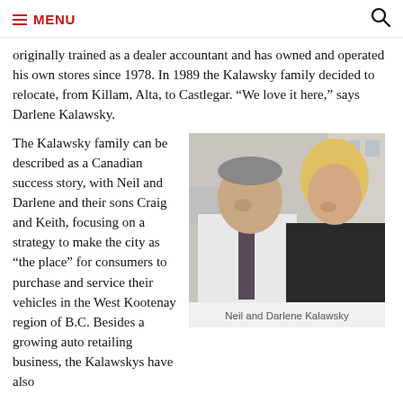MENU
originally trained as a dealer accountant and has owned and operated his own stores since 1978. In 1989 the Kalawsky family decided to relocate, from Killam, Alta, to Castlegar. “We love it here,” says Darlene Kalawsky.
The Kalawsky family can be described as a Canadian success story, with Neil and Darlene and their sons Craig and Keith, focusing on a strategy to make the city as “the place” for consumers to purchase and service their vehicles in the West Kootenay region of B.C. Besides a growing auto retailing business, the Kalawskys have also
[Figure (photo): Portrait photo of Neil and Darlene Kalawsky standing together outdoors. Neil is an older man wearing a white shirt and dark tie; Darlene is a blonde woman wearing a dark top.]
Neil and Darlene Kalawsky